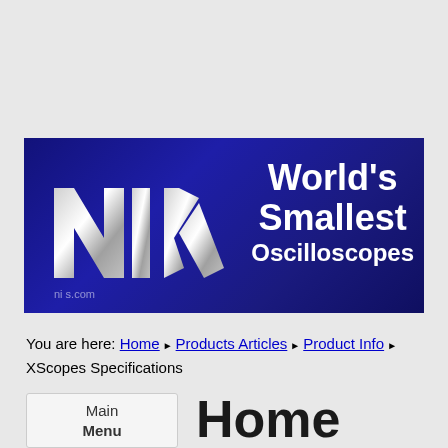[Figure (logo): Banner with logo showing stylized metallic letters 'nifscope' and text 'World's Smallest Oscilloscopes' on dark navy blue background]
You are here: Home ▶ Products Articles ▶ Product Info ▶ XScopes Specifications
Main Menu
Home